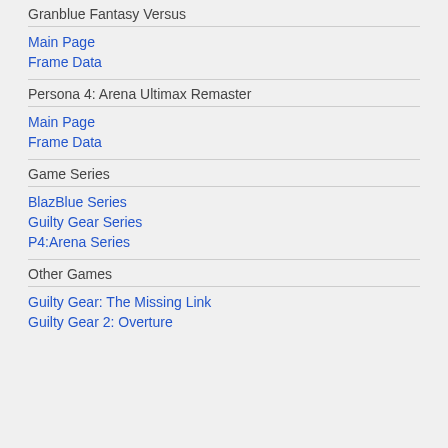Granblue Fantasy Versus
Main Page
Frame Data
Persona 4: Arena Ultimax Remaster
Main Page
Frame Data
Game Series
BlazBlue Series
Guilty Gear Series
P4:Arena Series
Other Games
Guilty Gear: The Missing Link
Guilty Gear 2: Overture